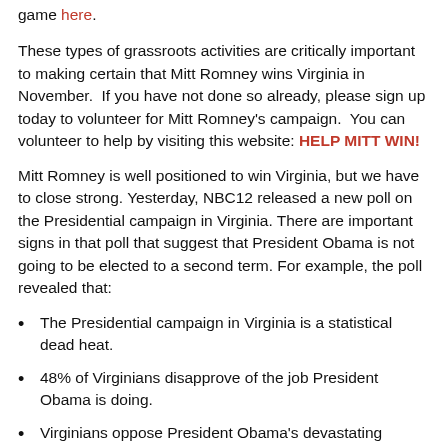game here.
These types of grassroots activities are critically important to making certain that Mitt Romney wins Virginia in November.  If you have not done so already, please sign up today to volunteer for Mitt Romney's campaign.  You can volunteer to help by visiting this website: HELP MITT WIN!
Mitt Romney is well positioned to win Virginia, but we have to close strong. Yesterday, NBC12 released a new poll on the Presidential campaign in Virginia. There are important signs in that poll that suggest that President Obama is not going to be elected to a second term. For example, the poll revealed that:
The Presidential campaign in Virginia is a statistical dead heat.
48% of Virginians disapprove of the job President Obama is doing.
Virginians oppose President Obama's devastating defense cuts 45% to 37%.  (Mitt was in Northern Virginia earlier this week talking about this important issue)